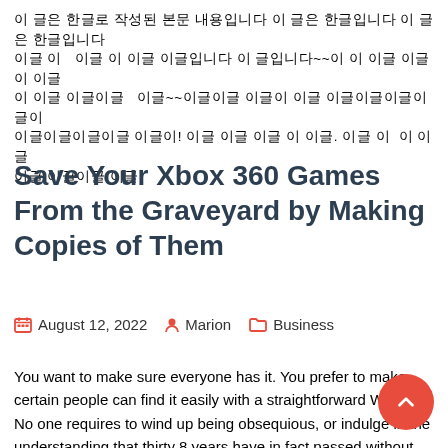이 글은 한글로 작성된 본문 내용입니다 이 글은 한글입니다 이 글은 한글입니다 이 글은 한글입니다 이 글은 한글입니다~~ 이 이 글은 한글로 이 글은 한글입니다 이 글은~~ 이 글은 한글입니다 이글은 한글 이 글이 이 글입니다 이 글은 한글이 이글은 이글은! 이글 이글 이글 이글 이글. 이글 이 이글 이글 이글 이글
Save Your Xbox 360 Games From the Graveyard by Making Copies of Them
August 12, 2022  Marion  Business
You want to make sure everyone has it. You prefer to make certain people can find it easily with a straightforward Web link. No one requires to wind up being obsequious, or indulge in the understanding that thirty 8 years have in fact passed without incident of mesothelioma cancer cells in Whittenoom, for it is an identified truth that a number of years